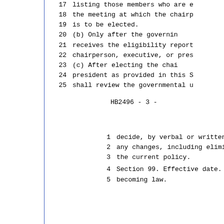17    listing those members who are e
18    the meeting at which the chairp
19    is to be elected.
20         (b) Only after the governin
21    receives the eligibility report
22    chairperson, executive, or pres
23         (c) After electing the chai
24    president as provided in this S
25    shall review the governmental u
HB2496                         - 3 -
1     decide, by verbal or written vo
2     any changes, including eliminat
3     the current policy.
4          Section 99. Effective date.
5     becoming law.